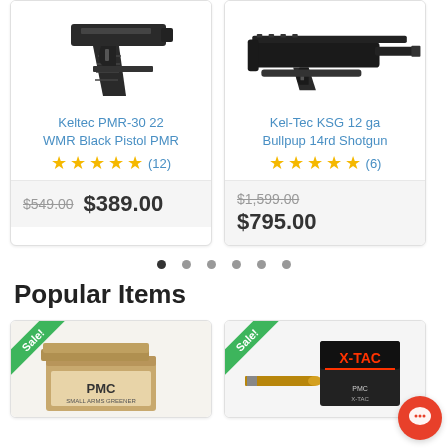[Figure (photo): Keltec PMR-30 22 WMR Black Pistol product image]
Keltec PMR-30 22 WMR Black Pistol PMR
★★★★★ (12)
$549.00  $389.00
[Figure (photo): Kel-Tec KSG 12 ga Bullpup 14rd Shotgun product image]
Kel-Tec KSG 12 ga Bullpup 14rd Shotgun
★★★★★ (6)
$1,599.00  $795.00
• • • • • •
Popular Items
[Figure (photo): PMC Small Arms Greener ammunition box with Sale badge]
[Figure (photo): PMC X-TAC ammunition box with Sale badge]